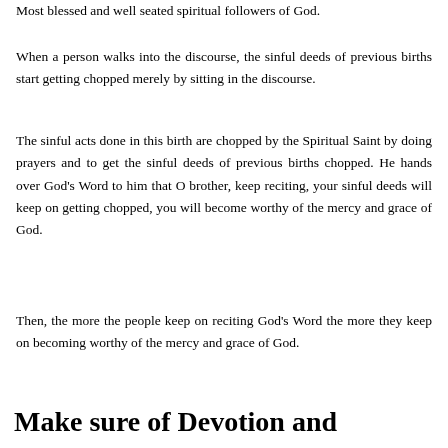Most blessed and well seated spiritual followers of God.
When a person walks into the discourse, the sinful deeds of previous births start getting chopped merely by sitting in the discourse.
The sinful acts done in this birth are chopped by the Spiritual Saint by doing prayers and to get the sinful deeds of previous births chopped. He hands over God's Word to him that O brother, keep reciting, your sinful deeds will keep on getting chopped, you will become worthy of the mercy and grace of God.
Then, the more the people keep on reciting God's Word the more they keep on becoming worthy of the mercy and grace of God.
Make sure of Devotion and